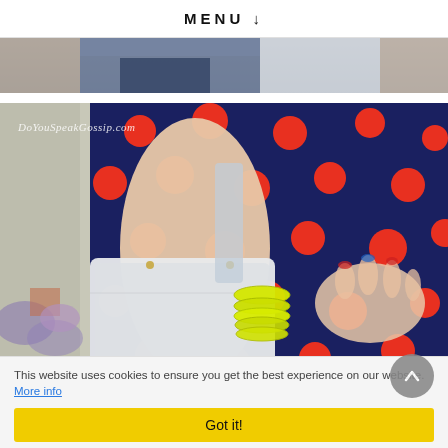MENU ↓
[Figure (photo): Partial view of two people outdoors — top strip showing torsos, one in blue jeans, blurred outdoor background]
[Figure (photo): Close-up of woman in navy blue polka dot dress with red dots, wearing neon yellow/green bangles on wrist, holding a white handbag. Watermark: DoYouSpeakGossip.com]
This website uses cookies to ensure you get the best experience on our website. More info
Got it!